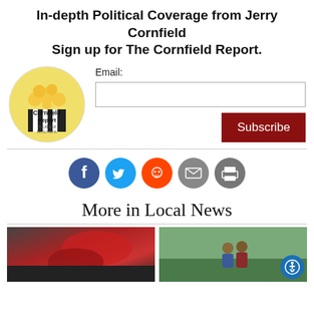In-depth Political Coverage from Jerry Cornfield Sign up for The Cornfield Report.
[Figure (logo): Cornfield Report logo: circular yellow background with popcorn and text 'Cornfield Report YOUR EAR IN OLYMPIA' with a striped popcorn bucket]
Email:
[Figure (other): Email input field (text box) and Subscribe button (dark red)]
[Figure (other): Social sharing icons row: Facebook (blue), Twitter (light blue), Reddit (orange), Email (grey), Print (grey)]
More in Local News
[Figure (photo): Left photo: building fire with red smoke/flames]
[Figure (photo): Right photo: people outdoors hugging or embracing, with accessibility button overlay]